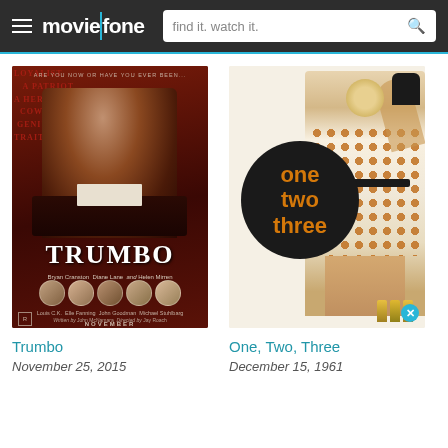moviefone — find it. watch it.
[Figure (photo): Trumbo movie poster showing Bryan Cranston as Dalton Trumbo at a typewriter, with text 'Bryan Cranston, Diane Lane, Helen Mirren, Louis C.K., Elle Fanning, John Goodman, Michael Stuhlbarg, November']
Trumbo
November 25, 2015
[Figure (photo): One, Two, Three movie poster showing a woman in a polka dot dress with a black circle containing the text 'one two three' in orange letters]
One, Two, Three
December 15, 1961